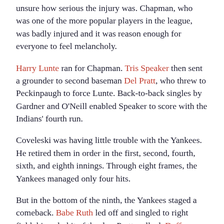unsure how serious the injury was. Chapman, who was one of the more popular players in the league, was badly injured and it was reason enough for everyone to feel melancholy.
Harry Lunte ran for Chapman. Tris Speaker then sent a grounder to second baseman Del Pratt, who threw to Peckinpaugh to force Lunte. Back-to-back singles by Gardner and O'Neill enabled Speaker to score with the Indians' fourth run.
Coveleski was having little trouble with the Yankees. He retired them in order in the first, second, fourth, sixth, and eighth innings. Through eight frames, the Yankees managed only four hits.
But in the bottom of the ninth, the Yankees staged a comeback. Babe Ruth led off and singled to right field, his only hit of the day. Pratt walked. Duffy Lewis, who like Ruth and Mays was obtained from the Red Sox, lifted a fly ball to the wall in left field. Charlie Jamieson raced back to the wall and made a sensational grab for the first out. Wally Pipp grounded out to first, and Ruth and Pratt each moved up a base. Both runners scored